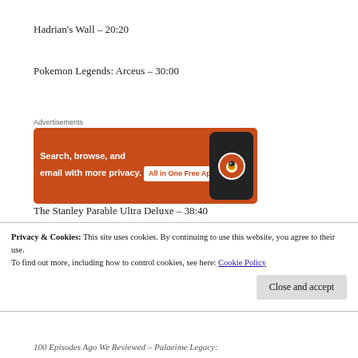Hadrian's Wall – 20:20
Pokemon Legends: Arceus – 30:00
[Figure (screenshot): DuckDuckGo advertisement banner. Orange background with text 'Search, browse, and email with more privacy.' and 'All in One Free App' CTA button. Shows a phone with DuckDuckGo logo.]
The Stanley Parable Ultra Deluxe – 38:40
Privacy & Cookies: This site uses cookies. By continuing to use this website, you agree to their use. To find out more, including how to control cookies, see here: Cookie Policy
100 Episodes Ago We Reviewed – Palaeime Legacy: